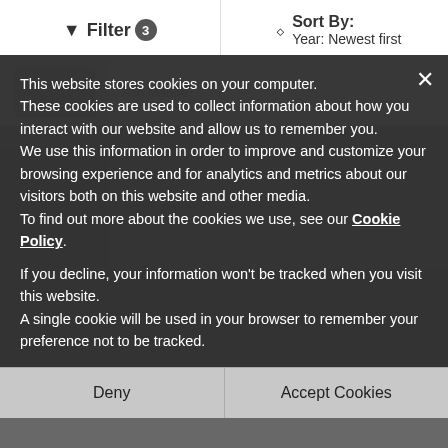Filter 3 | Sort By: Year: Newest first
Ash Marine
2022 Tohatsu MFS 5hp S
Ash Marine
2022 Tohatsu MFS ... hp CS
£ 3,350
excl. Devon
Ash Marine
2022 Tohatsu MFS50 A EPTL
This website stores cookies on your computer.
These cookies are used to collect information about how you interact with our website and allow us to remember you.
We use this information in order to improve and customize your browsing experience and for analytics and metrics about our visitors both on this website and other media.
To find out more about the cookies we use, see our Cookie Policy.

If you decline, your information won't be tracked when you visit this website.
A single cookie will be used in your browser to remember your preference not to be tracked.
Deny
Accept Cookies